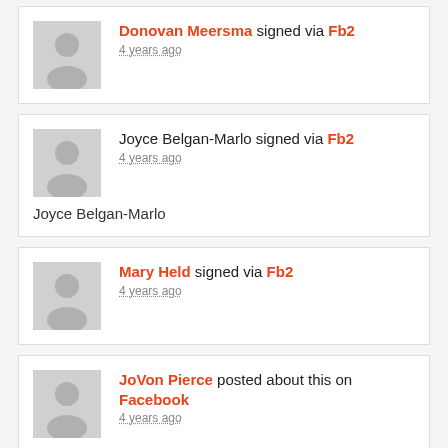Donovan Meersma signed via Fb2 · 4 years ago
Joyce Belgan-Marlo signed via Fb2 · 4 years ago · Joyce Belgan-Marlo
Mary Held signed via Fb2 · 4 years ago
JoVon Pierce posted about this on Facebook · 4 years ago · Sign the petition demanding that the Trump administration replace former E.P.A. Administrator Scott Pruitt with a director that will restore the agency to its role of protecting